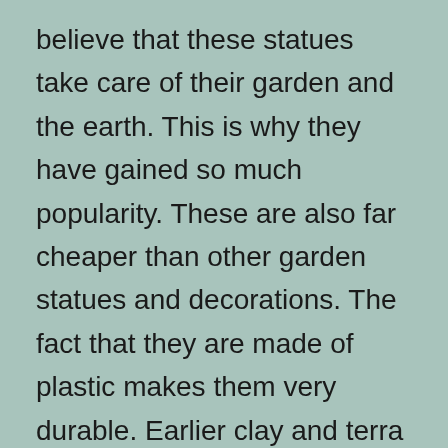believe that these statues take care of their garden and the earth. This is why they have gained so much popularity. These are also far cheaper than other garden statues and decorations. The fact that they are made of plastic makes them very durable. Earlier clay and terra cotta gnomes took much longer to manufacture as the paint and clay required a long time to mold. Plastic statues are far cheaper and much more durable than clay counterparts. They are mass produced in factories and most manufacturers are now shifting to plastic instead of clay and terra